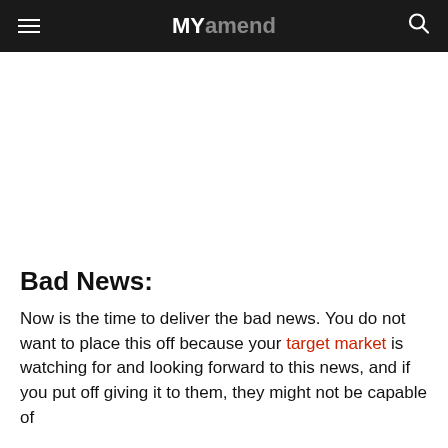MYamend
Bad News:
Now is the time to deliver the bad news. You do not want to place this off because your target market is watching for and looking forward to this news, and if you put off giving it to them, they might not be capable of